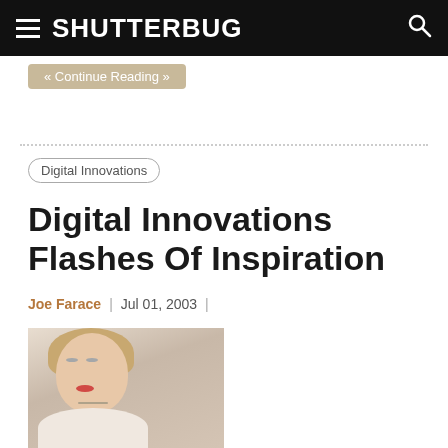SHUTTERBUG
« Continue Reading »
Digital Innovations
Digital Innovations Flashes Of Inspiration
Joe Farace  |  Jul 01, 2003  |
[Figure (photo): Portrait photo of a blonde woman with red lipstick, looking upward, wearing a necklace, partially bare shoulders]